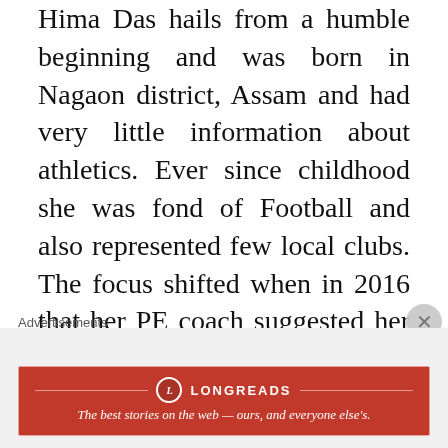Hima Das hails from a humble beginning and was born in Nagaon district, Assam and had very little information about athletics. Ever since childhood she was fond of Football and also represented few local clubs. The focus shifted when in 2016 that her PE coach suggested her to try out an individual event. Hima Das is one of those real-life stories which was easy but his zeal and hard work made it all the difference.
Hima Das took the nation by storm when she won first Gold for India in any global track event by winning the 400-metre final at the World U20 Championships in Tampere, Finland. At the IAAF U-
Advertisements
[Figure (other): Longreads advertisement banner: red background with Longreads logo and tagline 'The best stories on the web — ours, and everyone else's.']